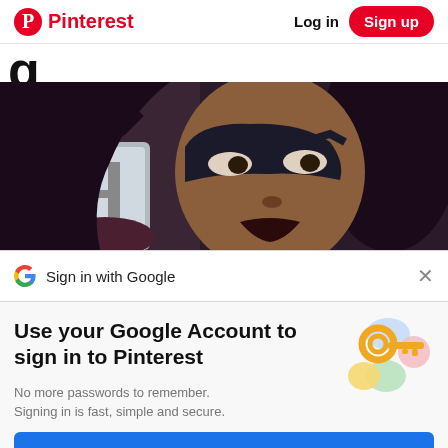Pinterest  Log in  Sign up
g
[Figure (illustration): Illustrated superhero woman with diamond-patterned mask and dark hair, holding a metallic object, in comic-book art style]
Sign in with Google
Use your Google Account to sign in to Pinterest
No more passwords to remember. Signing in is fast, simple and secure.
[Figure (illustration): Google key illustration with colorful circles and key icon representing Google Account sign-in]
Continue